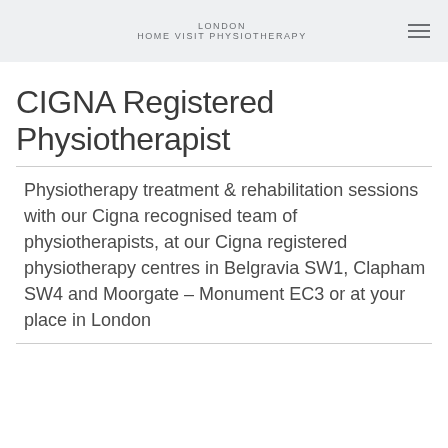LONDON HOME VISIT PHYSIOTHERAPY
CIGNA Registered Physiotherapist
Physiotherapy treatment & rehabilitation sessions with our Cigna recognised team of physiotherapists, at our Cigna registered physiotherapy centres in Belgravia SW1, Clapham SW4 and Moorgate – Monument EC3 or at your place in London